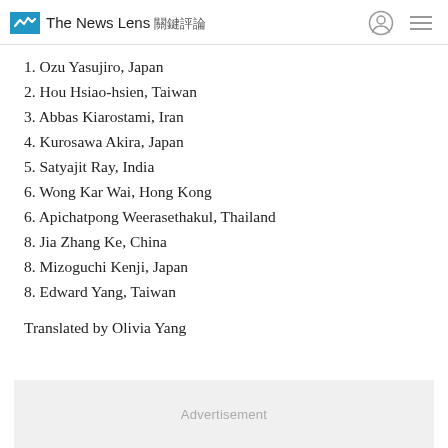The News Lens 關鍵評論
1. Ozu Yasujiro, Japan
2. Hou Hsiao-hsien, Taiwan
3. Abbas Kiarostami, Iran
4. Kurosawa Akira, Japan
5. Satyajit Ray, India
6. Wong Kar Wai, Hong Kong
6. Apichatpong Weerasethakul, Thailand
8. Jia Zhang Ke, China
8. Mizoguchi Kenji, Japan
8. Edward Yang, Taiwan
Translated by Olivia Yang
Advertisement